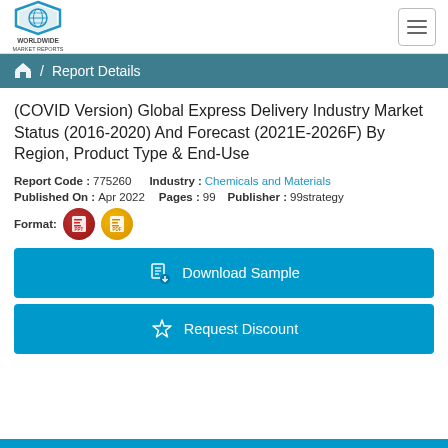Worldwide Market Reports | Report Details
(COVID Version) Global Express Delivery Industry Market Status (2016-2020) And Forecast (2021E-2026F) By Region, Product Type & End-Use
Report Code : 775260    Industry : Chemicals and Materials
Published On : Apr 2022    Pages : 99    Publisher : 99strategy
Format: [PPT] [PDF]
Download Sample
Request Discount